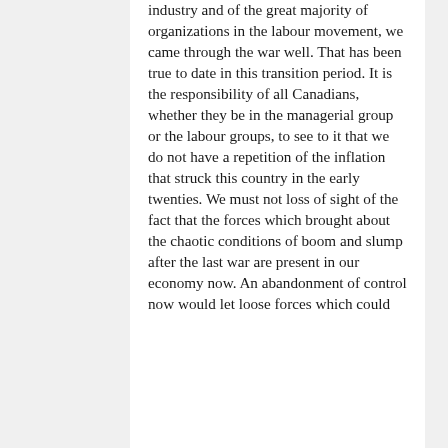industry and of the great majority of organizations in the labour movement, we came through the war well. That has been true to date in this transition period. It is the responsibility of all Canadians, whether they be in the managerial group or the labour groups, to see to it that we do not have a repetition of the inflation that struck this country in the early twenties. We must not loss of sight of the fact that the forces which brought about the chaotic conditions of boom and slump after the last war are present in our economy now. An abandonment of control now would let loose forces which could